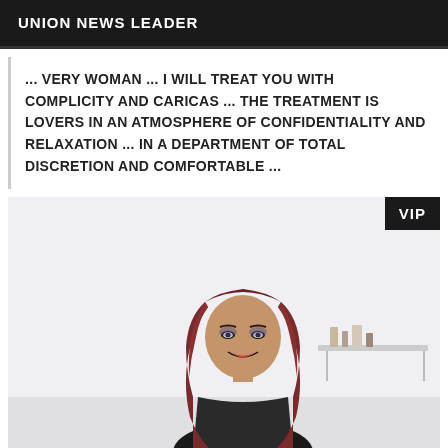UNION NEWS LEADER
... VERY WOMAN ... I WILL TREAT YOU WITH COMPLICITY AND CARICAS ... THE TREATMENT IS LOVERS IN AN ATMOSPHERE OF CONFIDENTIALITY AND RELAXATION ... IN A DEPARTMENT OF TOTAL DISCRETION AND COMFORTABLE ...
[Figure (photo): A person with long reddish-brown hair and makeup posing in a bright white room, with a shelf and items visible in the background. A VIP badge appears in the upper right corner of the image.]